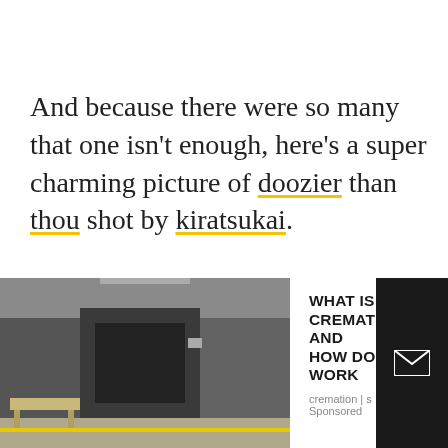And because there were so many that one isn't enough, here's a super charming picture of doozier than thou shot by kiratsukai.
[Figure (screenshot): Advertisement banner at the bottom showing a cremation facility image on the left and ad text 'WHAT IS CREMATION AND HOW DOES IT WORK' with source 'cremation | s... | Sponsored' on the right, plus a black strip with an envelope icon on the far right.]